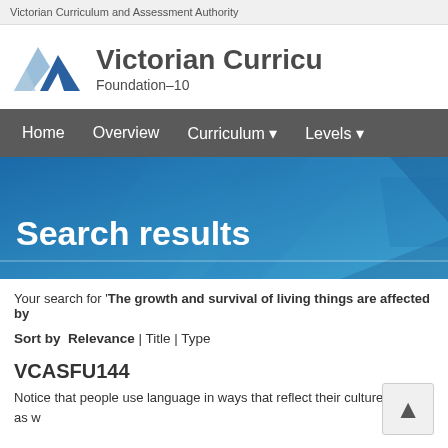Victorian Curriculum and Assessment Authority
[Figure (logo): Victorian Curriculum Foundation-10 logo with blue geometric chevron/arrow mark]
Victorian Curriculum Foundation–10
Home  Overview  Curriculum ▾  Levels ▾
Search results
Your search for 'The growth and survival of living things are affected by
Sort by  Relevance | Title | Type
VCASFU144
Notice that people use language in ways that reflect their culture, such as w